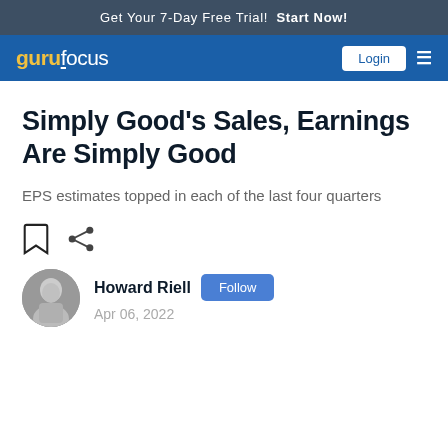Get Your 7-Day Free Trial!  Start Now!
[Figure (logo): GuruFocus logo with Login button and menu icon on blue navigation bar]
Simply Good's Sales, Earnings Are Simply Good
EPS estimates topped in each of the last four quarters
[Figure (other): Bookmark and share icons]
Howard Riell  Follow  Apr 06, 2022